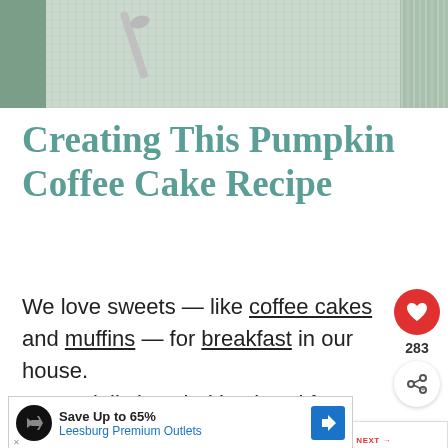[Figure (photo): Top portion of a photo showing a linen/burlap textured fabric with a metallic utensil on a muted green background]
Creating This Pumpkin Coffee Cake Recipe
We love sweets — like coffee cakes and muffins — for breakfast in our house.
I especially love baking breakfast during the fall and winter months when I
[Figure (screenshot): Ad banner: Save Up to 65% Leesburg Premium Outlets]
[Figure (infographic): What's Next overlay: Banana Streusel...]